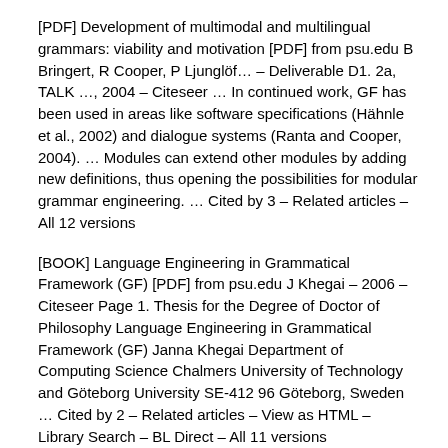[PDF] Development of multimodal and multilingual grammars: viability and motivation [PDF] from psu.edu B Bringert, R Cooper, P Ljunglöf… – Deliverable D1. 2a, TALK …, 2004 – Citeseer … In continued work, GF has been used in areas like software specifications (Hähnle et al., 2002) and dialogue systems (Ranta and Cooper, 2004). … Modules can extend other modules by adding new definitions, thus opening the possibilities for modular grammar engineering. … Cited by 3 – Related articles – All 12 versions
[BOOK] Language Engineering in Grammatical Framework (GF) [PDF] from psu.edu J Khegai – 2006 – Citeseer Page 1. Thesis for the Degree of Doctor of Philosophy Language Engineering in Grammatical Framework (GF) Janna Khegai Department of Computing Science Chalmers University of Technology and Göteborg University SE-412 96 Göteborg, Sweden … Cited by 2 – Related articles – View as HTML – Library Search – BL Direct – All 11 versions
[BOOK] Expressivity and complexity of the Grammatical Framework [PDF] from chalmers.se P Ljunglöf – 2004 – cse.chalmers.se … grammar level with the abstract syntax of another level. As an example we could have a spoken